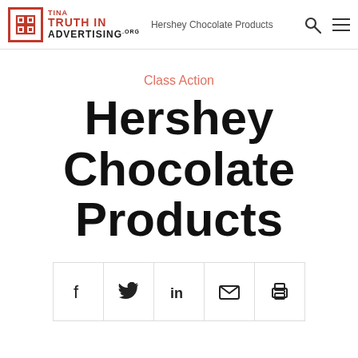TINA Truth in Advertising .org — Hershey Chocolate Products
Class Action
Hershey Chocolate Products
[Figure (other): Social share bar with icons: Facebook, Twitter, LinkedIn, Email, Print]